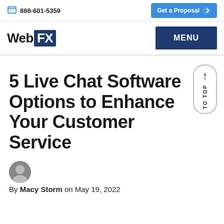888-601-5359 | Get a Proposal
WebFX | MENU
5 Live Chat Software Options to Enhance Your Customer Service
By Macy Storm on May 19, 2022